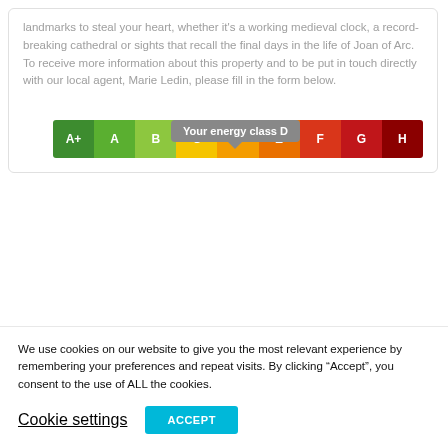landmarks to steal your heart, whether it's a working medieval clock, a record-breaking cathedral or sights that recall the final days in the life of Joan of Arc. To receive more information about this property and to be put in touch directly with our local agent, Marie Ledin, please fill in the form below.
[Figure (infographic): Energy class rating bar showing classes A+ through H with a tooltip bubble indicating 'Your energy class D'. The bar segments are color-coded from green (A+) to dark red (H).]
We use cookies on our website to give you the most relevant experience by remembering your preferences and repeat visits. By clicking “Accept”, you consent to the use of ALL the cookies.
Cookie settings   ACCEPT